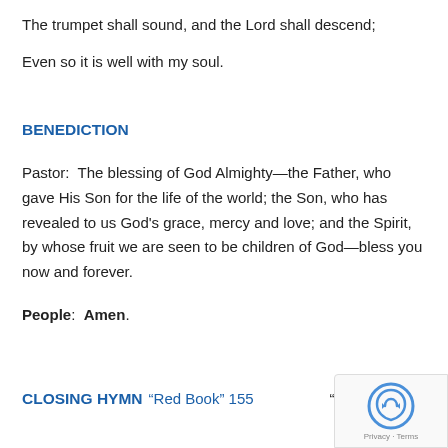The trumpet shall sound, and the Lord shall descend;
Even so it is well with my soul.
BENEDICTION
Pastor:  The blessing of God Almighty—the Father, who gave His Son for the life of the world; the Son, who has revealed to us God’s grace, mercy and love; and the Spirit, by whose fruit we are seen to be children of God—bless you now and forever.
People:  Amen.
CLOSING HYMN  “Red Book” 155    “On Eagle’s